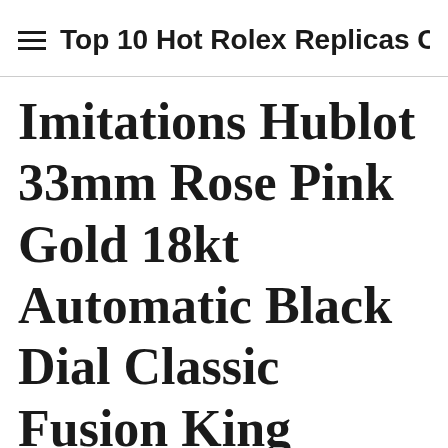Top 10 Hot Rolex Replicas Cheap
Imitations Hublot 33mm Rose Pink Gold 18kt Automatic Black Dial Classic Fusion King GoldHublot Hublot HUBLOT Big Bang Aerovan Gold Diamond